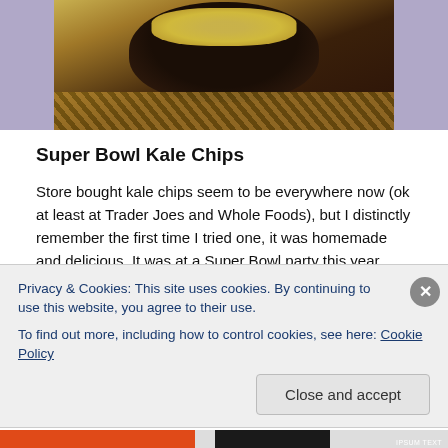[Figure (photo): Photo of a bowl of kale chips with a decorative mat underneath, cropped at top]
Super Bowl Kale Chips
Store bought kale chips seem to be everywhere now (ok at least at Trader Joes and Whole Foods), but I distinctly remember the first time I tried one, it was homemade and delicious. It was at a Super Bowl party this year, and it was one of the tastier things among a sea of typical game day food. Do I remember who was playing in the game? No.
Privacy & Cookies: This site uses cookies. By continuing to use this website, you agree to their use.
To find out more, including how to control cookies, see here: Cookie Policy
Close and accept